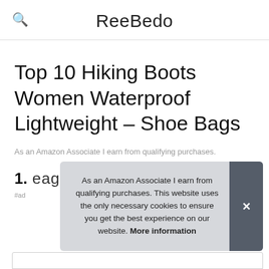ReeBedo
Top 10 Hiking Boots Women Waterproof Lightweight – Shoe Bags
As an Amazon Associate I earn from qualifying purchases.
1. eagle creek
#ad
As an Amazon Associate I earn from qualifying purchases. This website uses the only necessary cookies to ensure you get the best experience on our website. More information